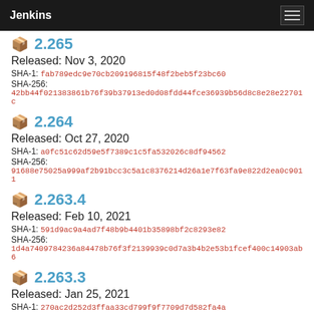Jenkins
📦 2.265
Released: Nov 3, 2020
SHA-1: fab789edc9e70cb209196815f48f2beb5f23bc60
SHA-256: 42bb44f021383861b76f39b37913ed0d08fdd44fce36939b56d8c8e28e22701c
📦 2.264
Released: Oct 27, 2020
SHA-1: a0fc51c62d59e5f7389c1c5fa532026c8df94562
SHA-256: 91688e75025a999af2b91bcc3c5a1c8376214d26a1e7f63fa9e822d2ea0c9011
📦 2.263.4
Released: Feb 10, 2021
SHA-1: 591d9ac9a4ad7f48b9b4401b35898bf2c8293e82
SHA-256: 1d4a7409784236a84478b76f3f2139939c0d7a3b4b2e53b1fcef400c14903ab6
📦 2.263.3
Released: Jan 25, 2021
SHA-1: 270ac2d252d3ffaa33cd799f9f7709d7d582fa4a
SHA-256: